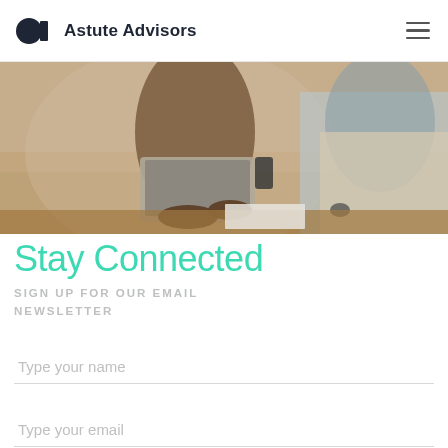Astute Advisors
[Figure (photo): Two people working at a table with a laptop and smartphone in a cafe/business setting, wearing aprons]
Stay Connected
SIGN UP FOR OUR EMAIL NEWSLETTER
Type your name
Type your email